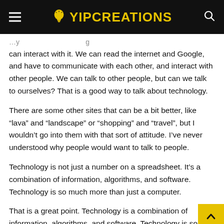YIPCREATIONS
can interact with it. We can read the internet and Google, and have to communicate with each other, and interact with other people. We can talk to other people, but can we talk to ourselves? That is a good way to talk about technology.
There are some other sites that can be a bit better, like “lava” and “landscape” or “shopping” and “travel”, but I wouldn’t go into them with that sort of attitude. I’ve never understood why people would want to talk to people.
Technology is not just a number on a spreadsheet. It’s a combination of information, algorithms, and software. Technology is so much more than just a computer.
That is a great point. Technology is a combination of information, algorithms, and software. Technology is so mu…